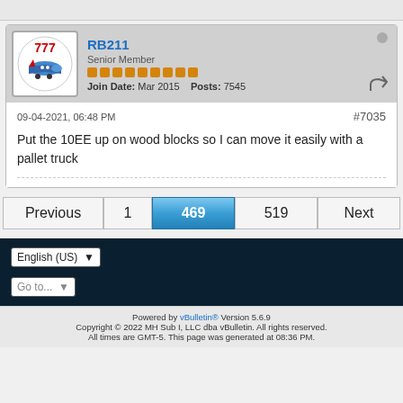[Figure (illustration): Forum post card with user avatar (cartoon airplane with '777' text), username RB211, Senior Member rank, orange reputation dots, join date Mar 2015, Posts 7545]
RB211
Senior Member
Join Date: Mar 2015  Posts: 7545
09-04-2021, 06:48 PM
#7035
Put the 10EE up on wood blocks so I can move it easily with a pallet truck
Previous  1  469  519  Next
English (US)
Go to...
Powered by vBulletin® Version 5.6.9
Copyright © 2022 MH Sub I, LLC dba vBulletin. All rights reserved.
All times are GMT-5. This page was generated at 08:36 PM.